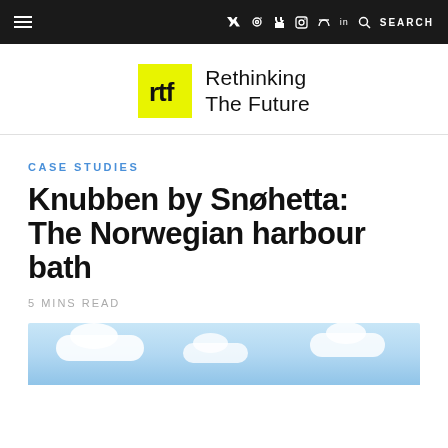≡   f  Twitter  Instagram  Pinterest  in  🔍  SEARCH
[Figure (logo): Rethinking The Future logo: yellow square with stylized 'rtf' letterform in black, followed by text 'Rethinking The Future']
CASE STUDIES
Knubben by Snøhetta: The Norwegian harbour bath
5 MINS READ
[Figure (photo): Partial photo showing blue sky with white clouds at the bottom of the page]